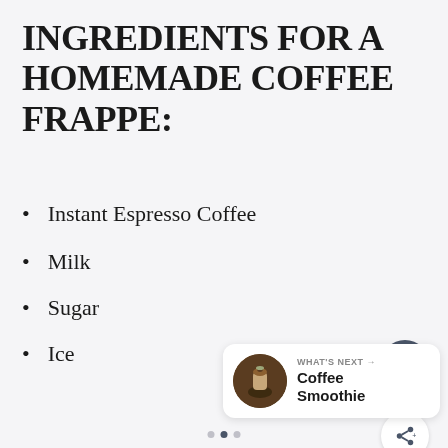INGREDIENTS FOR A HOMEMADE COFFEE FRAPPE:
Instant Espresso Coffee
Milk
Sugar
Ice
[Figure (infographic): UI overlay with heart/like button showing 2.6K likes and a share button]
[Figure (infographic): What's Next card showing Coffee Smoothie with thumbnail image]